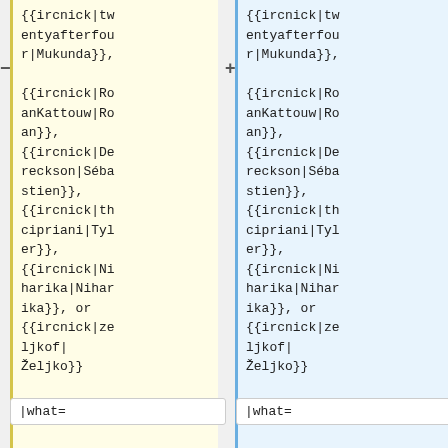{{ircnick|twentyafterfour|Mukunda}},

{{ircnick|RoanKattouw|Roan}},
{{ircnick|Dereckson|Sébastien}},
{{ircnick|thcipriani|Tyler}},
{{ircnick|Niharika|Niharika}}, or
{{ircnick|zeljkof|Željko}}
{{ircnick|twentyafterfour|Mukunda}},

{{ircnick|RoanKattouw|Roan}},
{{ircnick|Dereckson|Sébastien}},
{{ircnick|thcipriani|Tyler}},
{{ircnick|Niharika|Niharika}}, or
{{ircnick|zeljkof|Željko}}
|what=
|what=